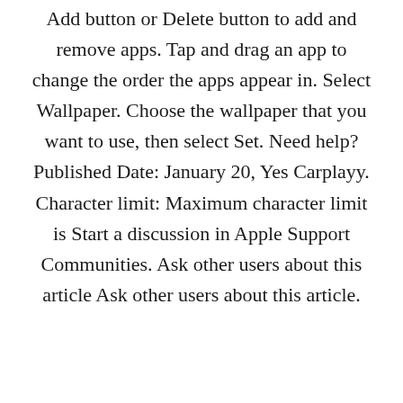Add button or Delete button to add and remove apps. Tap and drag an app to change the order the apps appear in. Select Wallpaper. Choose the wallpaper that you want to use, then select Set. Need help? Published Date: January 20, Yes Carplayy. Character limit: Maximum character limit is Start a discussion in Apple Support Communities. Ask other users about this article Ask other users about this article.